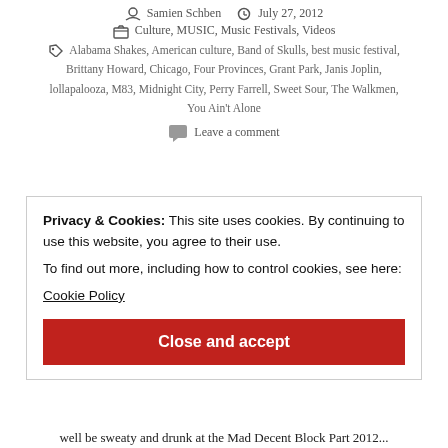Samien Schben   July 27, 2012
Culture, MUSIC, Music Festivals, Videos
Alabama Shakes, American culture, Band of Skulls, best music festival, Brittany Howard, Chicago, Four Provinces, Grant Park, Janis Joplin, lollapalooza, M83, Midnight City, Perry Farrell, Sweet Sour, The Walkmen, You Ain't Alone
Leave a comment
MAD DECENT
Privacy & Cookies: This site uses cookies. By continuing to use this website, you agree to their use.
To find out more, including how to control cookies, see here:
Cookie Policy
Close and accept
well be sweaty and drunk at the Mad Decent Block Part 2012...